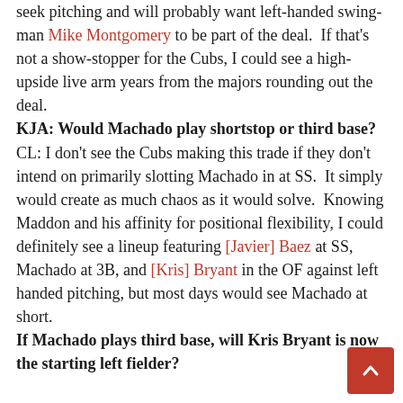seek pitching and will probably want left-handed swing-man Mike Montgomery to be part of the deal.  If that's not a show-stopper for the Cubs, I could see a high-upside live arm years from the majors rounding out the deal.
KJA: Would Machado play shortstop or third base?
CL: I don't see the Cubs making this trade if they don't intend on primarily slotting Machado in at SS.  It simply would create as much chaos as it would solve.  Knowing Maddon and his affinity for positional flexibility, I could definitely see a lineup featuring [Javier] Baez at SS, Machado at 3B, and [Kris] Bryant in the OF against left handed pitching, but most days would see Machado at short.
If Machado plays third base, will Kris Bryant is now the starting left fielder?